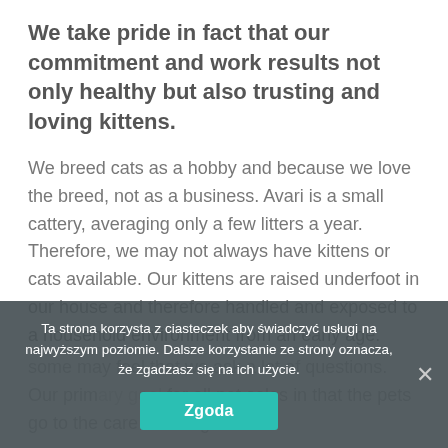We take pride in fact that our commitment and work results not only healthy but also trusting and loving kittens.
We breed cats as a hobby and because we love the breed, not as a business. Avari is a small cattery, averaging only a few litters a year. Therefore, we may not always have kittens or cats available. Our kittens are raised underfoot in our house and therefore handled and exposed to a household environment from an early age.
some may feel that we ask a lot of questions. Our prim[ary goal] for all pet sales in that the pets go to the care of loving [owners]
Ta strona korzysta z ciasteczek aby świadczyć usługi na najwyższym poziomie. Dalsze korzystanie ze strony oznacza, że zgadzasz się na ich użycie.